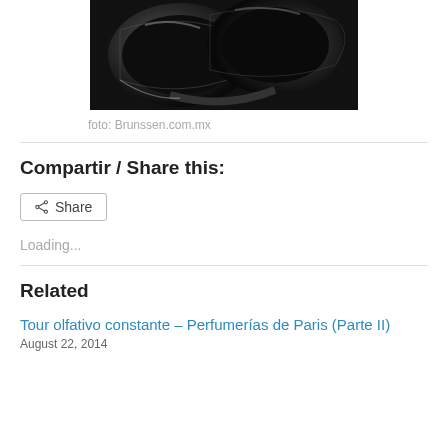[Figure (photo): Close-up black and white photo of curved cylindrical tubes or exhaust pipes with glossy dark surfaces]
foto: Brunssen.com.mx
Compartir / Share this:
Share
Loading...
Related
Tour olfativo constante – Perfumerías de Paris (Parte II)
August 22, 2014